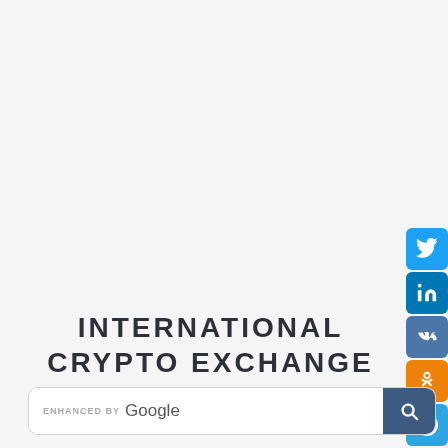[Figure (infographic): Social media share icons stacked vertically on right side: Twitter (blue), LinkedIn (blue), VK (blue), Odnoklassniki (orange), Telegram (light blue), Tumblr (dark blue-gray)]
INTERNATIONAL CRYPTO EXCHANGE AUSTRALIA PTY LTD
[Figure (screenshot): Google custom search bar with 'ENHANCED BY Google' label and a dark blue search button with magnifying glass icon]